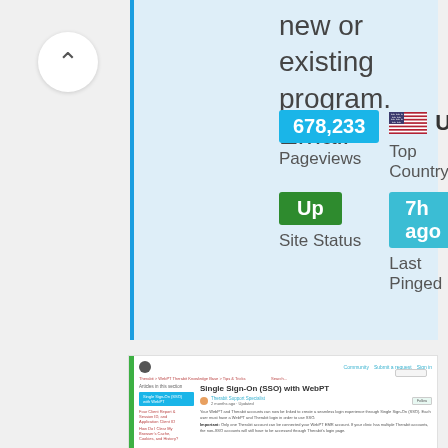...or has account and I want to access a new or existing program. Email
[Figure (infographic): Stats card showing: 678,233 Pageviews, US Top Country (with US flag), Up Site Status (green badge), 7h ago Last Pinged (cyan badge)]
[Figure (screenshot): Screenshot of a webpage showing 'Single Sign-On (SSO) with WebPT' article from Therabit Support Specialist, with sidebar navigation and article body text about WebPT and Therabit accounts.]